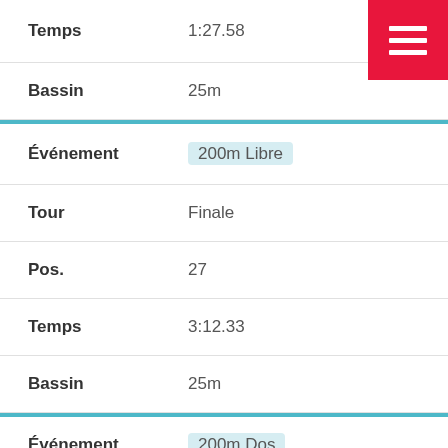| Temps | 1:27.58 |
| Bassin | 25m |
| Événement | 200m Libre |
| Tour | Finale |
| Pos. | 27 |
| Temps | 3:12.33 |
| Bassin | 25m |
| Événement | 200m Dos |
| Tour | Finale |